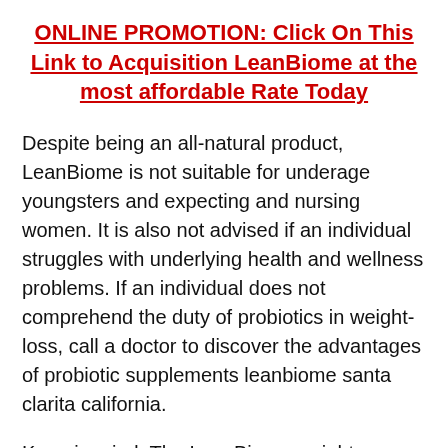ONLINE PROMOTION: Click On This Link to Acquisition LeanBiome at the most affordable Rate Today
Despite being an all-natural product, LeanBiome is not suitable for underage youngsters and expecting and nursing women. It is also not advised if an individual struggles with underlying health and wellness problems. If an individual does not comprehend the duty of probiotics in weight-loss, call a doctor to discover the advantages of probiotic supplements leanbiome santa clarita california.
Keep in mind: The LeanBiome weight reduction supplement is exclusively offered online and can